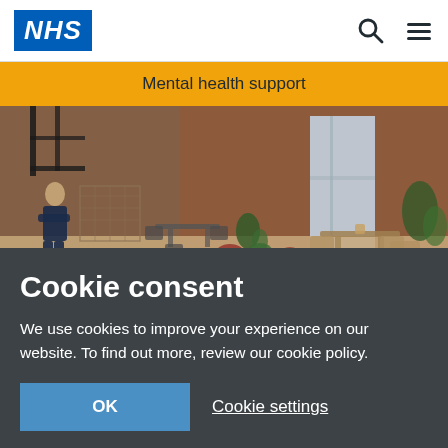NHS | Mental health support
[Figure (photo): Outdoor patio area of a mental health support facility showing garden furniture, plants, brick building, and a person standing with arms crossed]
Cookie consent
We use cookies to improve your experience on our website. To find out more, review our cookie policy.
OK | Cookie settings